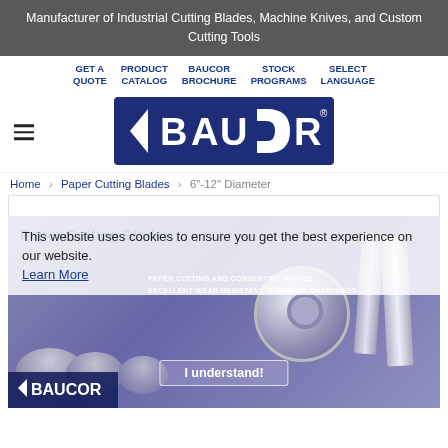Manufacturer of Industrial Cutting Blades, Machine Knives, and Custom Cutting Tools
GET A QUOTE  PRODUCT CATALOG  BAUCOR BROCHURE  STOCK PROGRAMS  SELECT LANGUAGE
[Figure (logo): Baucor logo — white text on dark navy blue background, with stylized blade/shield shape]
Home › Paper Cutting Blades › 6"-12" Diameter
Paper Cutting Blades
This website uses cookies to ensure you get the best experience on our website.
Learn More
[Figure (photo): Paper cutting blades and converting knives, showing circular blade, rectangular blades, and paper rolls on a blue-grey background. Text overlay: PAPER CUTTING AND CONVERTING KNIVES / EXCELLENT WEAR RESISTANT, SUPERIOR SHARPNESS]
I understand!
[Figure (logo): Baucor logo in white on dark blue strip at bottom left of banner]